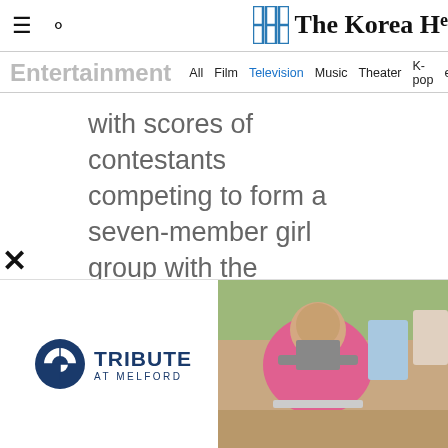≡ ○ The Korea He[rald]
Entertainment  All  Film  Television  Music  Theater  K-pop  esports
with scores of contestants competing to form a seven-member girl group with the potential of making it on the Billboard charts.
[Figure (photo): Advertisement for Tribute at Melford showing logo on left and photo of elderly woman painting outdoors on right]